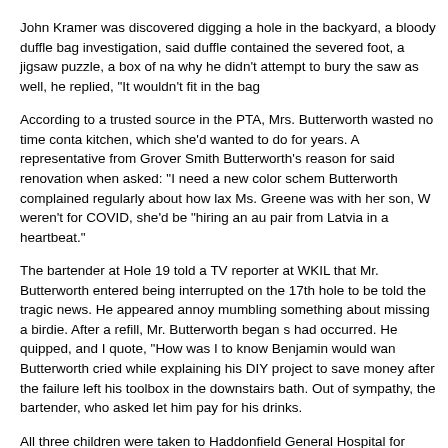John Kramer was discovered digging a hole in the backyard, a bloody duffle bag investigation, said duffle contained the severed foot, a jigsaw puzzle, a box of na why he didn't attempt to bury the saw as well, he replied, "It wouldn't fit in the bag
According to a trusted source in the PTA, Mrs. Butterworth wasted no time conta kitchen, which she'd wanted to do for years. A representative from Grover Smith Butterworth's reason for said renovation when asked: "I need a new color schem Butterworth complained regularly about how lax Ms. Greene was with her son, W weren't for COVID, she'd be "hiring an au pair from Latvia in a heartbeat."
The bartender at Hole 19 told a TV reporter at WKIL that Mr. Butterworth entered being interrupted on the 17th hole to be told the tragic news. He appeared annoy mumbling something about missing a birdie. After a refill, Mr. Butterworth began s had occurred. He quipped, and I quote, "How was I to know Benjamin would wan Butterworth cried while explaining his DIY project to save money after the failure left his toolbox in the downstairs bath. Out of sympathy, the bartender, who asked let him pay for his drinks.
All three children were taken to Haddonfield General Hospital for observation, ou are said to be in stable condition. When leaving the scene, Isabella and John rep we come back and play?"
The Kramers and Strodes have not returned repeated requests for comment.
Greta Greene, a recent graduate of Fernhill High, belonged to the Drama Club (w